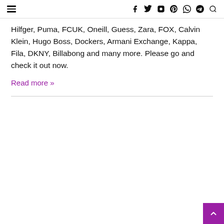≡ [navigation icons: facebook, twitter, instagram, pinterest, whatsapp, telegram, search]
Hilfger, Puma, FCUK, Oneill, Guess, Zara, FOX, Calvin Klein, Hugo Boss, Dockers, Armani Exchange, Kappa, Fila, DKNY, Billabong and many more. Please go and check it out now.
Read more »